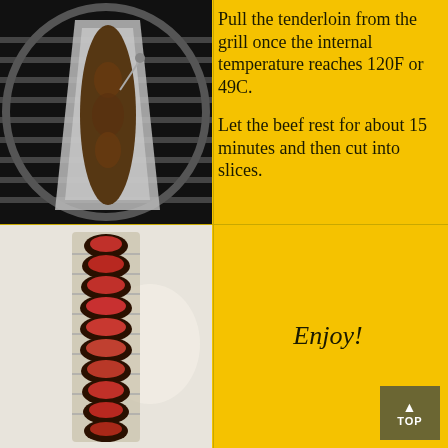[Figure (photo): Beef tenderloin on a grill with a drip pan, viewed from above on a round grill grate]
Pull the tenderloin from the grill once the internal temperature reaches 120F or 49C.

Let the beef rest for about 15 minutes and then cut into slices.
[Figure (photo): Sliced beef tenderloin arranged vertically on a serving tray, showing pink/red interior]
Enjoy!